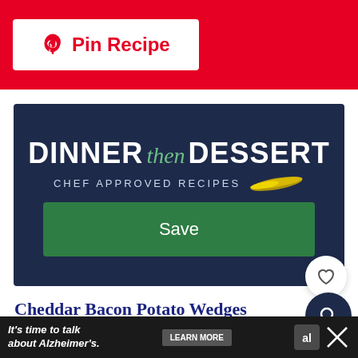[Figure (screenshot): Red Pinterest 'Pin Recipe' button bar with white button containing Pinterest logo and text 'Pin Recipe' in red]
[Figure (logo): Dinner then Dessert banner with navy background, white bold 'DINNER' text, green italic 'then', white bold 'DESSERT', subtitle 'CHEF APPROVED RECIPES' with golden knife graphic, and green 'Save' button]
Cheddar Bacon Potato Wedges
Cheddar Bacon Potato Wedges are made with bacon
[Figure (screenshot): Black advertisement bar: "It's time to talk about Alzheimer's." with LEARN MORE button and Alzheimer's Association logo]